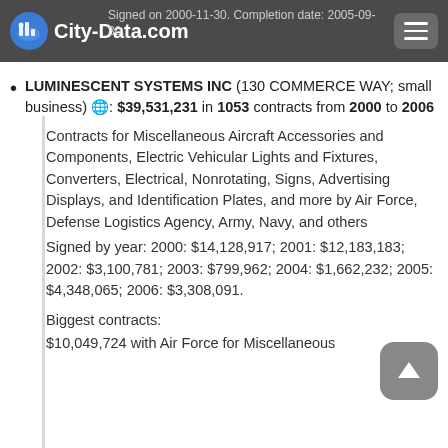City-Data.com — Signed on 2000-11-30. Completion date: 2005-09-30.
LUMINESCENT SYSTEMS INC (130 COMMERCE WAY; small business) 🌐: $39,531,231 in 1053 contracts from 2000 to 2006
Contracts for Miscellaneous Aircraft Accessories and Components, Electric Vehicular Lights and Fixtures, Converters, Electrical, Nonrotating, Signs, Advertising Displays, and Identification Plates, and more by Air Force, Defense Logistics Agency, Army, Navy, and others
Signed by year: 2000: $14,128,917; 2001: $12,183,183; 2002: $3,100,781; 2003: $799,962; 2004: $1,662,232; 2005: $4,348,065; 2006: $3,308,091.
Biggest contracts:
$10,049,724 with Air Force for Miscellaneous